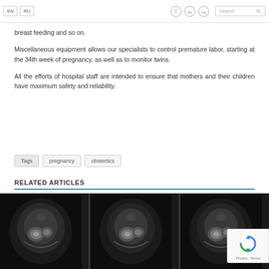EN | RU | [social icons] | Search
breast feeding and so on.
Miscellaneous equipment allows our specialists to control premature labor, starting at the 34th week of pregnancy, as well as to monitor twins.
All the efforts of hospital staff are intended to ensure that mothers and their children have maximum safety and reliability.
Tags  pregnancy  obstertics
RELATED ARTICLES
[Figure (photo): Three black and white ultrasound or medical images showing fetal/infant heads side by side]